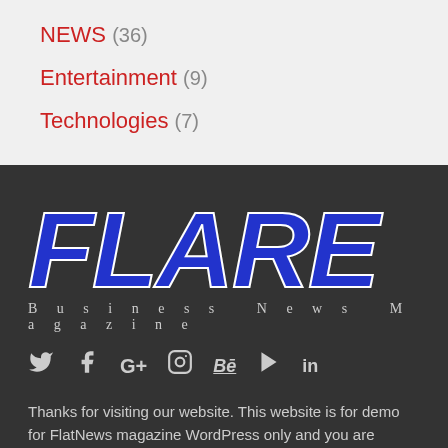NEWS (36)
Entertainment (9)
Technologies (7)
[Figure (logo): FLARE magazine logo in dark blue brush-stroke lettering on dark background]
Business News Magazine
[Figure (infographic): Social media icons: Twitter, Facebook, Google+, Instagram, Behance, YouTube, LinkedIn]
Thanks for visiting our website. This website is for demo for FlatNews magazine WordPress only and you are reading the about of the website. This section can be filled up with any H